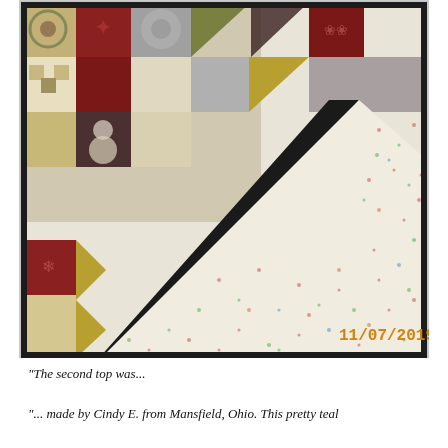[Figure (photo): Close-up photograph of a Christmas holiday quilt showing patchwork pattern with dark green/black border trim and cream/white floral backing fabric. The quilt top features red, gold, gray, and green fabric squares and triangles in a nine-patch and flying geese style pattern. A date stamp '11/07/2019' appears in orange in the lower right corner.]
“The second top was...
“... made by Cindy E. from Mansfield, Ohio. This pretty teal